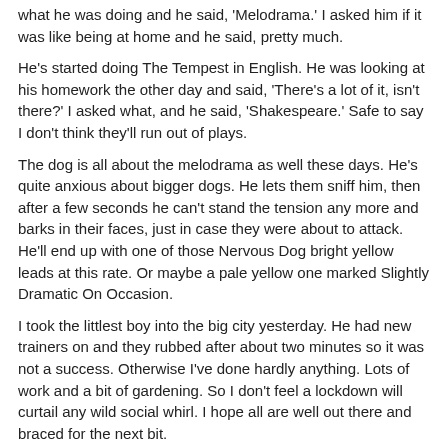what he was doing and he said, 'Melodrama.' I asked him if it was like being at home and he said, pretty much.
He's started doing The Tempest in English. He was looking at his homework the other day and said, 'There's a lot of it, isn't there?' I asked what, and he said, 'Shakespeare.' Safe to say I don't think they'll run out of plays.
The dog is all about the melodrama as well these days. He's quite anxious about bigger dogs. He lets them sniff him, then after a few seconds he can't stand the tension any more and barks in their faces, just in case they were about to attack. He'll end up with one of those Nervous Dog bright yellow leads at this rate. Or maybe a pale yellow one marked Slightly Dramatic On Occasion.
I took the littlest boy into the big city yesterday. He had new trainers on and they rubbed after about two minutes so it was not a success. Otherwise I've done hardly anything. Lots of work and a bit of gardening. So I don't feel a lockdown will curtail any wild social whirl. I hope all are well out there and braced for the next bit.